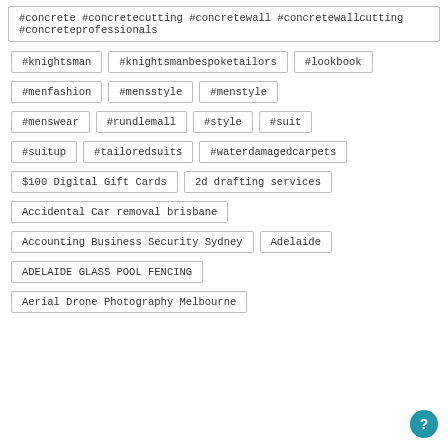#concrete #concretecutting #concretewall #concretewallcutting #concreteprofessionals
#knightsman
#knightsmanbespoketailors
#lookbook
#menfashion
#mensstyle
#menstyle
#menswear
#rundlemall
#style
#suit
#suitup
#tailoredsuits
#waterdamagedcarpets
$100 Digital Gift Cards
2d drafting services
Accidental Car removal brisbane
Accounting Business Security Sydney
Adelaide
ADELAIDE GLASS POOL FENCING
Aerial Drone Photography Melbourne